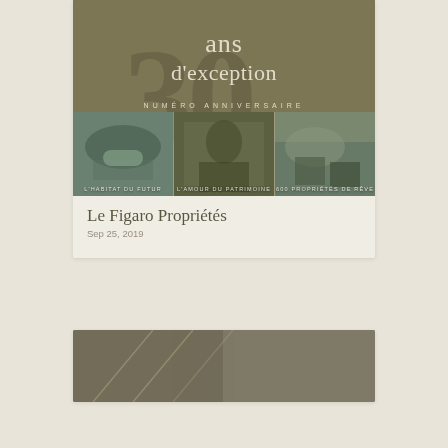[Figure (photo): Magazine cover of Le Figaro Propriétés anniversary issue showing '30 ans d'exception' with NUMÉRO ANNIVERSAIRE subtitle, and three small photos at bottom: L'habitat du futur, L'amour du patrimoine, 600 propriétés de rêve]
Le Figaro Propriétés
Sep 25, 2019
[Figure (photo): Partially visible magazine or publication cover at the bottom of the page, showing an aerial or architectural view]